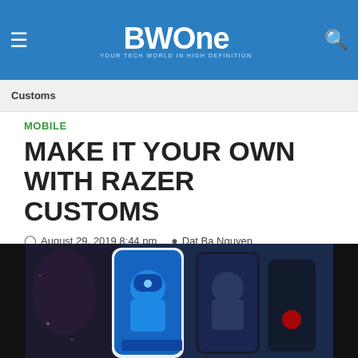BWOne — YOUR TECH WORLD IN HIGH DEFINITION
Customs
MOBILE
MAKE IT YOUR OWN WITH RAZER CUSTOMS
August 29, 2019 8:44 pm   Dat Ba Nguyen
4 Min Read
[Figure (photo): Phone cases with gaming artwork designs including Mega Man and other game characters displayed side by side]